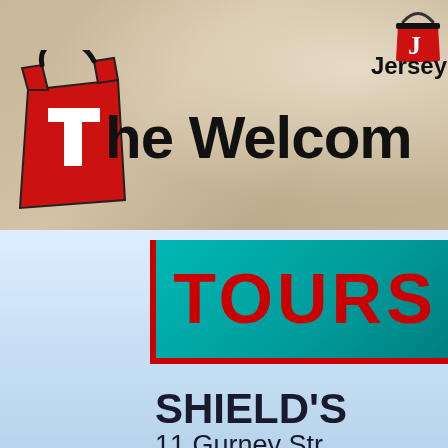[Figure (logo): The Welcome Tours logo with red shopping bag T icon and Jersey Shore bucket icon, set against sandy beach background]
The Welcome
TOURS
SHIELD'S
11 Gurney Str
(609) 898-1818  |  w